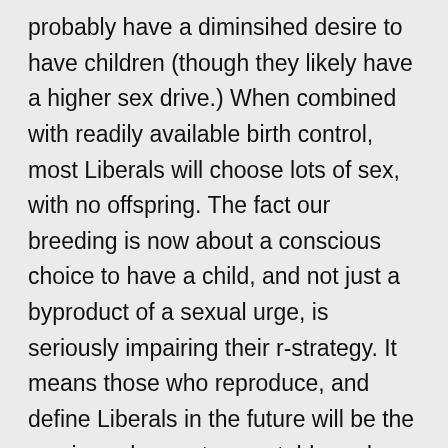probably have a diminsihed desire to have children (though they likely have a higher sex drive.) When combined with readily available birth control, most Liberals will choose lots of sex, with no offspring. The fact our breeding is now about a conscious choice to have a child, and not just a byproduct of a sexual urge, is seriously impairing their r-strategy. It means those who reproduce, and define Liberals in the future will be the crazies, who are too unstable and irresponsible to stick to a Birth Control regimen, and the single welfare moms, who are designed to have as many kids as possible as a way of acquiring government largesse. I suspect, if there